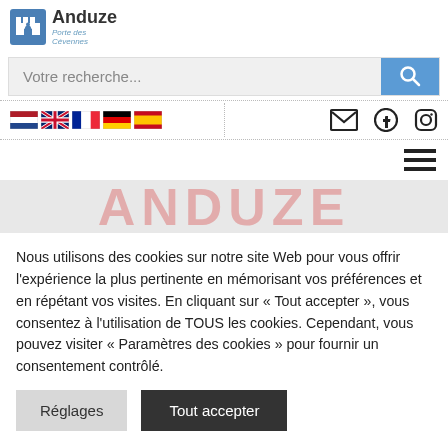[Figure (logo): Anduze municipality logo with castle icon and subtitle 'Porte des Cévennes']
[Figure (screenshot): Search bar with placeholder 'Votre recherche...' and blue search button with magnifying glass icon]
[Figure (screenshot): Navigation row with country flags (Netherlands, UK, France, Germany, Spain) on left; email, Facebook, Instagram icons on right; vertical dotted divider in center]
[Figure (screenshot): Hamburger menu icon (three horizontal lines) on right side]
[Figure (screenshot): Hero banner with large faded red-pink text 'ANDUZE']
Nous utilisons des cookies sur notre site Web pour vous offrir l'expérience la plus pertinente en mémorisant vos préférences et en répétant vos visites. En cliquant sur « Tout accepter », vous consentez à l'utilisation de TOUS les cookies. Cependant, vous pouvez visiter « Paramètres des cookies » pour fournir un consentement contrôlé.
Réglages  Tout accepter